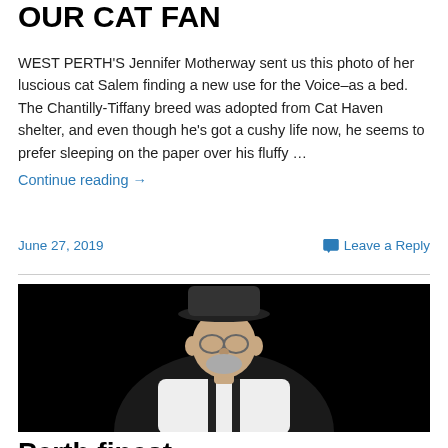OUR CAT FAN
WEST PERTH'S Jennifer Motherway sent us this photo of her luscious cat Salem finding a new use for the Voice–as a bed. The Chantilly-Tiffany breed was adopted from Cat Haven shelter, and even though he's got a cushy life now, he seems to prefer sleeping on the paper over his fluffy …
Continue reading →
June 27, 2019      Leave a Reply
[Figure (photo): Black and white portrait photo of an older man wearing a black bowler hat, glasses, and a white shirt with dark suspenders, looking seriously at the camera against a black background.]
Perth finest...